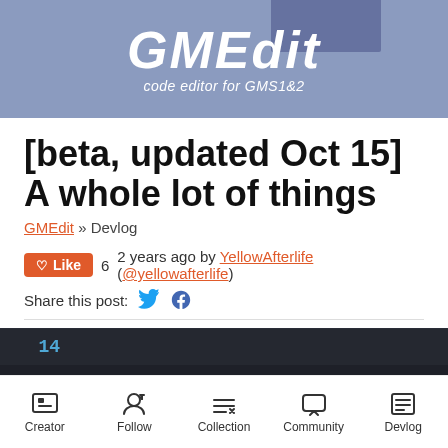[Figure (logo): GMEdit logo — code editor for GMS1&2 — on a slate blue/periwinkle banner background]
[beta, updated Oct 15] A whole lot of things
GMEdit » Devlog
Like  6   2 years ago by YellowAfterlife (@yellowafterlife)
Share this post:
[Figure (screenshot): Code editor screenshot showing line numbers 14 and 15, with 'dmc' on line 15 and an autocomplete popup showing 'function ds_map_create ds']
Creator  Follow  Collection  Community  Devlog